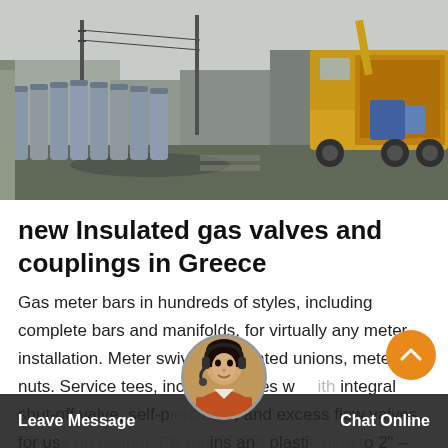[Figure (photo): Industrial street scene with gas cylinders/tanks lined up along a building wall, a yellow crane truck on the right side, utility poles in background, taken in an industrial area.]
new Insulated gas valves and couplings in Greece
Gas meter bars in hundreds of styles, including complete bars and manifolds, for virtually any meter installation. Meter swivels, insulated unions, meter nuts. Service tees, including styles with integral shut-off valve, self-piercing, and excess flow valves, for use on copper, PE mains and plastic or plastic pipe to 2" – some styles to 4".